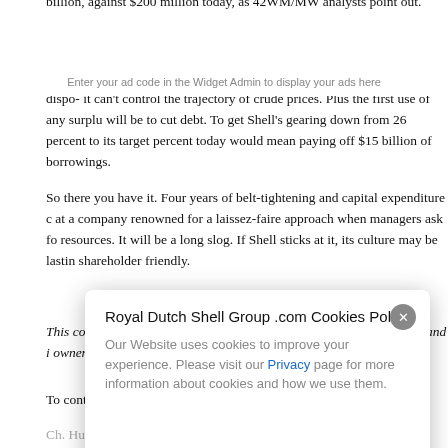billion, against $200 million today, as 42WM/MW analysts point out.
What could go wrong? Shell still needs to realize good prices for its dipos- it can't control the trajectory of crude prices. Plus the first use of any surplus will be to cut debt. To get Shell's gearing down from 26 percent to its target percent today would mean paying off $15 billion of borrowings.
So there you have it. Four years of belt-tightening and capital expenditure at a company renowned for a laissez-faire approach when managers ask f resources. It will be a long slog. If Shell sticks at it, its culture may be lastin shareholder friendly.
This column does not necessarily reflect the opinion of Bloomberg LP and owners.
To contact the author of this story:
Ch. Hughes in London at chughes@bloomberg.net
To...
Ja...
[Figure (other): Cookie consent modal dialog for Royal Dutch Shell Group .com with close button and Privacy link]